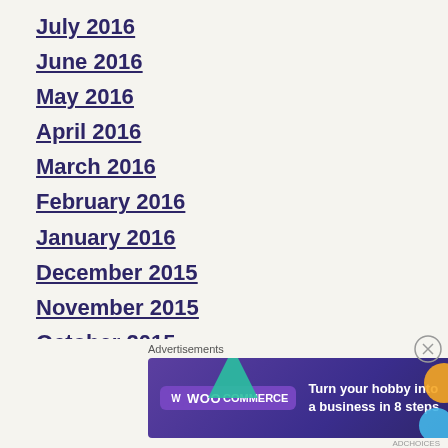July 2016
June 2016
May 2016
April 2016
March 2016
February 2016
January 2016
December 2015
November 2015
October 2015
September 2015
August 2015
July 2015
June 2015
[Figure (infographic): WooCommerce advertisement banner: 'Turn your hobby into a business in 8 steps']